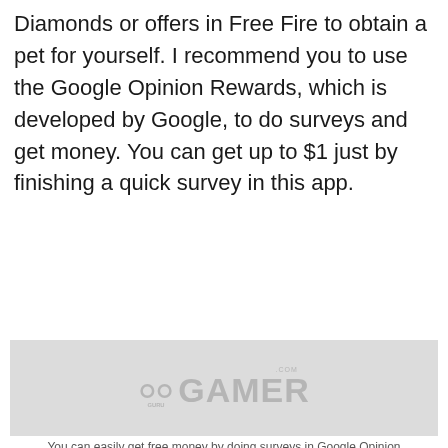Diamonds or offers in Free Fire to obtain a pet for yourself. I recommend you to use the Google Opinion Rewards, which is developed by Google, to do surveys and get money. You can get up to $1 just by finishing a quick survey in this app.
[Figure (logo): GuruGamer.com watermark logo on a light gray background rectangle]
You can easily get free money by doing surveys in Google Opinion